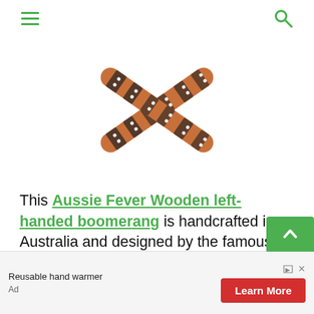Navigation menu and search icon
[Figure (illustration): Two decorated wooden boomerangs crossed in an X shape, with brown wood coloring and black and white Aboriginal dot art patterns along the arms.]
This Aussie Fever Wooden left-handed boomerang is handcrafted in Australia and designed by the famous former Australian Champion, Roger Perry. It is pretty lightweight, making it easier to throw and great for people from 10 to 72 years. Its flared wing design ensures that it handle
[Figure (infographic): Advertisement banner: Reusable hand warmer with Learn More button in red, ad choice icon and close button.]